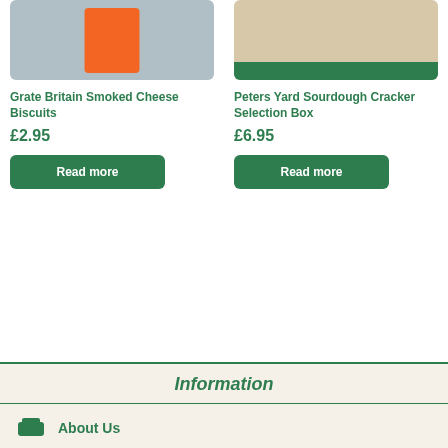[Figure (photo): Product photo of Grate Britain Smoked Cheese Biscuits — orange rectangular box on grey/blue background]
[Figure (photo): Product photo of Peters Yard Sourdough Cracker Selection Box — crackers box with green band at bottom]
Grate Britain Smoked Cheese Biscuits
Peters Yard Sourdough Cracker Selection Box
£2.95
£6.95
Read more
Read more
Information
About Us